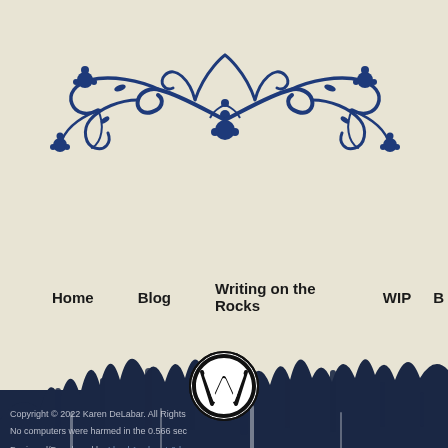[Figure (illustration): Dark blue ornamental floral flourish decoration with scrolls and flowers, centered at the top of the page on a parchment/cream background]
Home   Blog   Writing on the Rocks   WIP   B
[Figure (logo): WordPress circular logo in black and white]
Copyright © 2022 Karen DeLabar. All Rights No computers were harmed in the 0.566 sec Designed/Developed by Lloyd Armbrust & ho Powered by Wordpress.